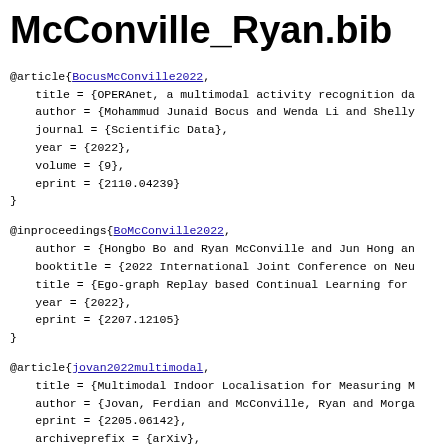McConville_Ryan.bib
@article{BocusMcConville2022,
  title = {OPERAnet, a multimodal activity recognition da
  author = {Mohammud Junaid Bocus and Wenda Li and Shelly
  journal = {Scientific Data},
  year = {2022},
  volume = {9},
  eprint = {2110.04239}
}
@inproceedings{BoMcConville2022,
  author = {Hongbo Bo and Ryan McConville and Jun Hong an
  booktitle = {2022 International Joint Conference on Neu
  title = {Ego-graph Replay based Continual Learning for
  year = {2022},
  eprint = {2207.12105}
}
@article{jovan2022multimodal,
  title = {Multimodal Indoor Localisation for Measuring M
  author = {Jovan, Ferdian and McConville, Ryan and Morga
  eprint = {2205.06142},
  archiveprefix = {arXiv},
  year = {2022}
}
@article{emerson2022offline,